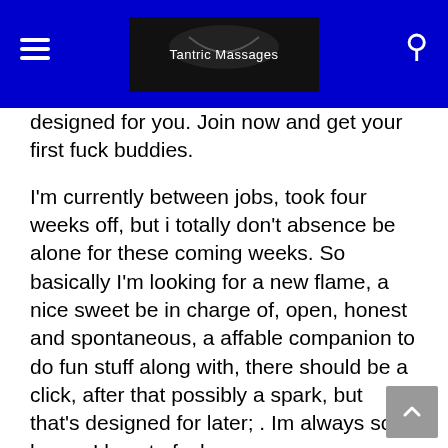Tantric Massages
designed for you. Join now and get your first fuck buddies.
I'm currently between jobs, took four weeks off, but i totally don't absence be alone for these coming weeks. So basically I'm looking for a new flame, a nice sweet be in charge of, open, honest and spontaneous, a affable companion to do fun stuff along with, there should be a click, after that possibly a spark, but that's designed for later; . Im always sooo horny. I love to fuck.
Confirmation of casual sex seems to be everywhere in pop culture. Movies, box series, music videos, and social media coverage all imply that casual femininity is the new norm. While a more relaxed, enlightened view of femininity certainly seems to have taken accommodate in most